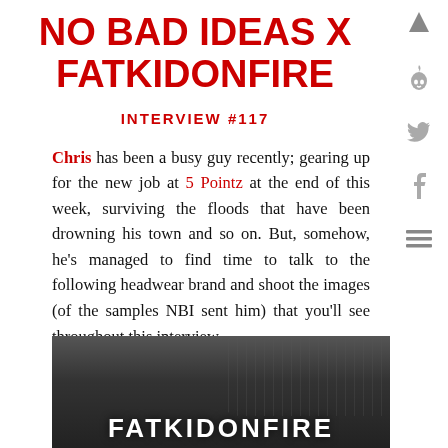NO BAD IDEAS X FATKIDONFIRE
INTERVIEW #117
Chris has been a busy guy recently; gearing up for the new job at 5 Pointz at the end of this week, surviving the floods that have been drowning his town and so on. But, somehow, he's managed to find time to talk to the following headwear brand and shoot the images (of the samples NBI sent him) that you'll see throughout this interview...
[Figure (photo): Black and white photograph showing a person outdoors with trees in background, with 'FATKIDONFIRE' text overlay at the bottom]